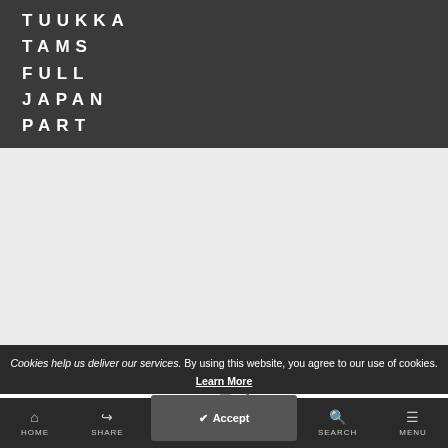TUUKKA TAMS FULL JAPAN PART
[Figure (other): Loading spinner / buffering icon in the center of a light gray content area]
Cookies help us deliver our services. By using this website, you agree to our use of cookies. Learn More
HOME   SHARE   SEARCH   MENU